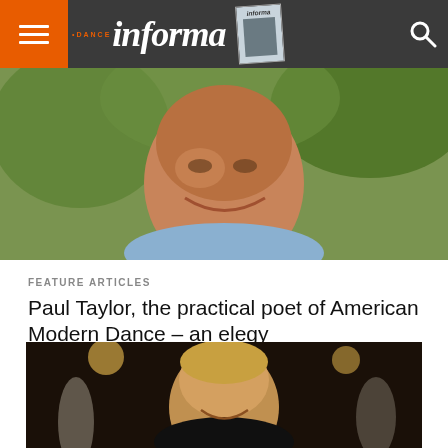Dance Informa
[Figure (photo): Close-up portrait of an older man smiling outdoors with green foliage background]
FEATURE ARTICLES
Paul Taylor, the practical poet of American Modern Dance – an elegy
Paul Taylor was a true giant of American modern dance, with works that displayed both simplicity and depth of understanding into the...
[Figure (photo): Man with blond hair smiling, performing or watching dancers with stage lighting in background]